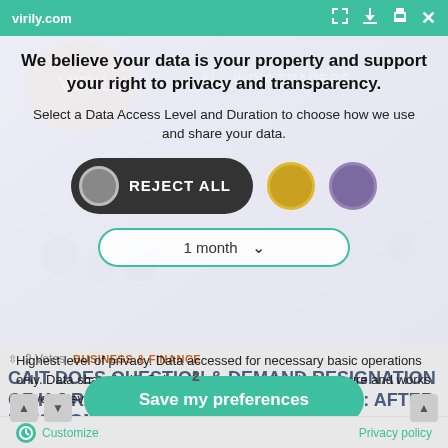virily.com
[Figure (screenshot): Privacy consent dialog overlay on virily.com showing crowd/rally background image with 'ALL INDIA TRADERS' text visible]
We believe your data is your property and support your right to privacy and transparency.
Select a Data Access Level and Duration to choose how we use and share your data.
[Figure (infographic): REJECT ALL button (dark rounded button with grey circle icon), gold circle button, purple circle button]
[Figure (infographic): 1 month dropdown selector with teal border and chevron]
2 Votes   BUSINESS & FINANCE
CAIT DOES QUESTION & DEMAND RESIGNATION OF K J RAO ALONG WITH SOM JHINGAN: AFTER PM'S NON-INTERFERENCE
Highest level of privacy. Data accessed for necessary basic operations only. Data shared with 3rd parties to ensure the site is secure and works on your device
[Figure (infographic): Save my preferences green rounded button]
Customize   Privacy policy